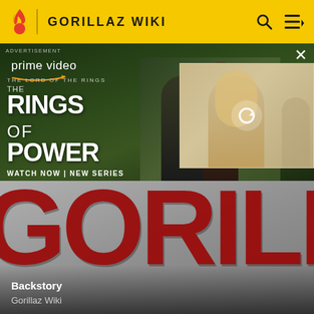GORILLAZ WIKI
[Figure (screenshot): Amazon Prime Video advertisement for The Lord of the Rings: The Rings of Power. Left side shows two characters in a field with text 'prime video', 'THE LORD OF THE RINGS', 'THE RINGS OF POWER', 'WATCH NOW | NEW SERIES'. Right side shows a thumbnail of a blonde woman with a refresh/reload icon overlay, with a group of people behind her.]
[Figure (photo): Gorillaz Wiki hero banner showing a large close-up of the Gorillaz logo text in dark red brushstroke lettering ('GORILLAZ') on a grey gradient background. The letters visible are 'RILLAZ' partially cropped. Bottom overlay shows 'Backstory' in bold white and 'Gorillaz Wiki' in grey below it.]
Backstory
Gorillaz Wiki